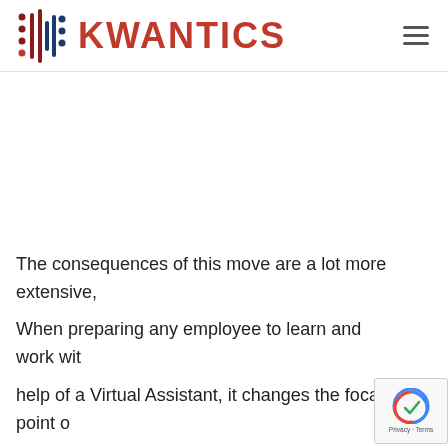KWANTICS
The consequences of this move are a lot more extensive,

When preparing any employee to learn and work with the help of a Virtual Assistant, it changes the focal point of…